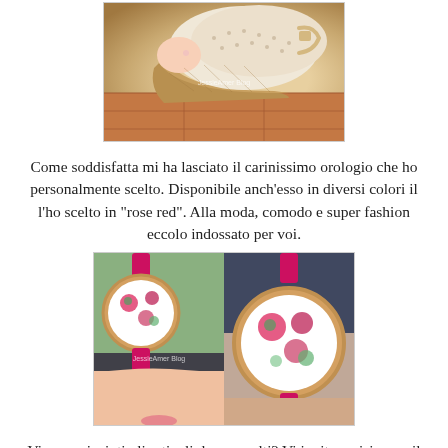[Figure (photo): Close-up photo of a woman's foot wearing a beige lace wedge sandal with cork heel on terracotta tile floor. Watermark reads 'JessieAmer Blog'.]
Come soddisfatta mi ha lasciato il carinissimo orologio che ho personalmente scelto. Disponibile anch'esso in diversi colori il l'ho scelto in "rose red". Alla moda, comodo e super fashion eccolo indossato per voi.
[Figure (photo): Two photos side by side of a floral-face watch with pink/fuchsia strap worn on a woman's wrist. Left photo shows side view with hand, right photo shows front view close-up. Watermark reads 'JessieAmer Blog'.]
Vi sono piaciuti gli articoli da me scelti? Vi invito a visionare il sito, i pagamenti sono sicuri e le spedizioni sono state molto veloci. Vi lascio i link a tutti i loro contatti anche solo per